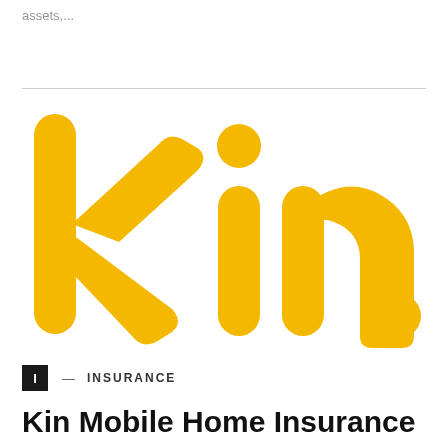assets,...
[Figure (logo): Kin Insurance logo — yellow bold lowercase 'kin.' text on white background]
I — INSURANCE
Kin Mobile Home Insurance